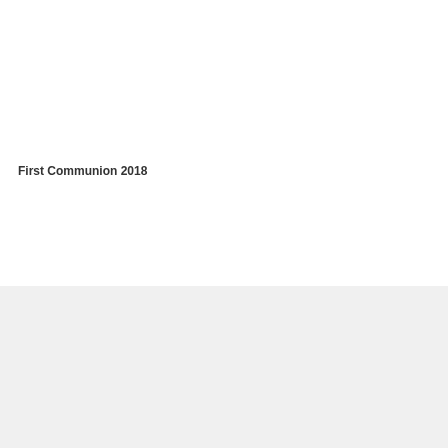First Communion 2018
Phone: 215-672-2881    Fax: 215-674-1025
Website is operated by St. Catherine of Siena Church, Horsham, PA
Version:  Mobile | Web